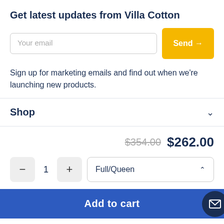Get latest updates from Villa Cotton
Your email
Send →
Sign up for marketing emails and find out when we're launching new products.
Shop
$354.00  $262.00
1
Full/Queen
Add to cart